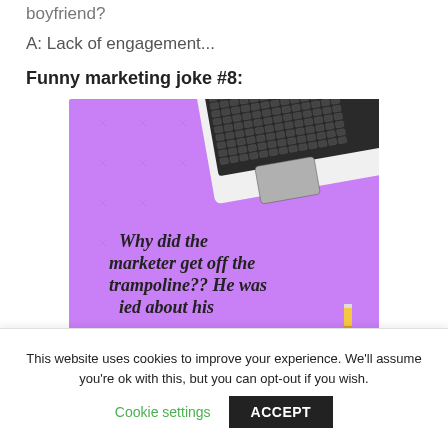boyfriend?
A: Lack of engagement...
Funny marketing joke #8:
[Figure (illustration): Purple background with a laptop keyboard visible in upper right corner. Text on image reads: Why did the marketer get off the trampoline?? He was ied about his (text cut off). An illustrated pencil is visible at the bottom right.]
This website uses cookies to improve your experience. We'll assume you're ok with this, but you can opt-out if you wish.
Cookie settings
ACCEPT